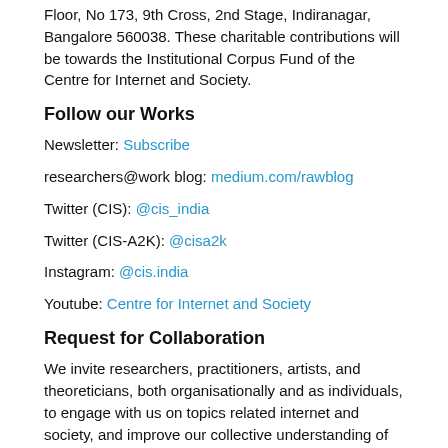Floor, No 173, 9th Cross, 2nd Stage, Indiranagar, Bangalore 560038. These charitable contributions will be towards the Institutional Corpus Fund of the Centre for Internet and Society.
Follow our Works
Newsletter: Subscribe
researchers@work blog: medium.com/rawblog
Twitter (CIS): @cis_india
Twitter (CIS-A2K): @cisa2k
Instagram: @cis.india
Youtube: Centre for Internet and Society
Request for Collaboration
We invite researchers, practitioners, artists, and theoreticians, both organisationally and as individuals, to engage with us on topics related internet and society, and improve our collective understanding of this field. To discuss such possibilities, please write to us at communications[at]cis-india[dot]org with an indication of the form and the content of the collaboration you might be interested in.